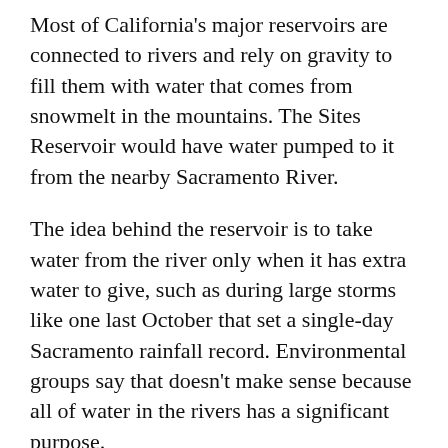Most of California's major reservoirs are connected to rivers and rely on gravity to fill them with water that comes from snowmelt in the mountains. The Sites Reservoir would have water pumped to it from the nearby Sacramento River.
The idea behind the reservoir is to take water from the river only when it has extra water to give, such as during large storms like one last October that set a single-day Sacramento rainfall record. Environmental groups say that doesn't make sense because all of water in the rivers has a significant purpose.
“There is no such thing as excess water in the environment,” said Steve Evans, rivers director for the California Wilderness Coalition. “That water is needed for fisheries and water quality in downstream ecosystems and every time you take it out of the system you are having an environmental impact.”